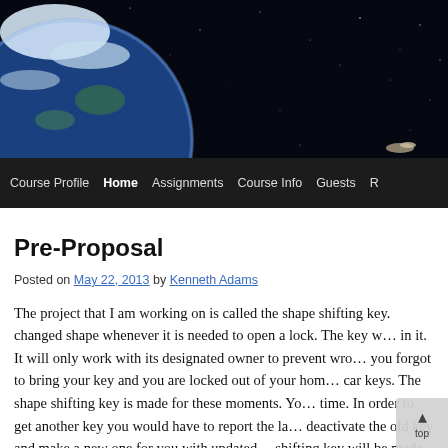[Figure (photo): Website header banner showing Earth from space against a black starry background]
Course Profile | Home | Assignments | Course Info | Guests | R…
Pre-Proposal
Posted on May 22, 2013 by Kenneth Adams
The project that I am working on is called the shape shifting key. changed shape whenever it is needed to open a lock. The key w… in it. It will only work with its designated owner to prevent wro… you forgot to bring your key and you are locked out of your hom… car keys. The shape shifting key is made for these moments. Yo… time. In order to get another key you would have to report the la… deactivate the old key and make a new one for you with updated… shifting key will be made to fit in your wallet. Losing the key w… lost your wallet. The key will have a chip in it with data of th… can remember that it is your lock and how to change shape to op…